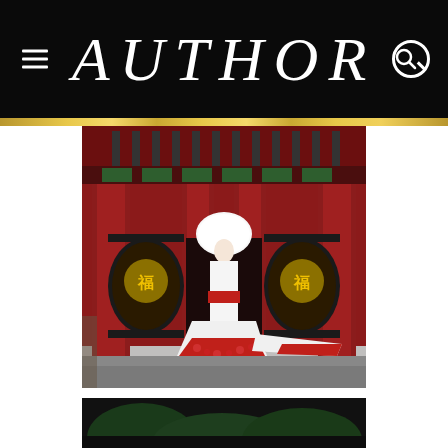AUTHOR
[Figure (photo): Bride wearing a white Japanese wedding kimono (shiromuku) with a large white wataboshi hat and a red-accented long trailing hem, standing in front of a large red Japanese Buddhist temple gate (resembling Senso-ji in Asakusa, Tokyo) with ornate golden lanterns on either side]
[Figure (photo): Partial view of a second photo at the bottom, showing a dark scene with green foliage]